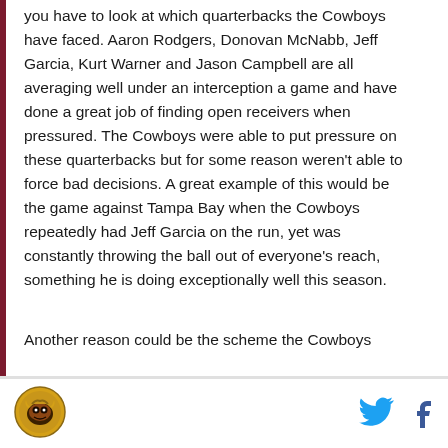you have to look at which quarterbacks the Cowboys have faced. Aaron Rodgers, Donovan McNabb, Jeff Garcia, Kurt Warner and Jason Campbell are all averaging well under an interception a game and have done a great job of finding open receivers when pressured. The Cowboys were able to put pressure on these quarterbacks but for some reason weren't able to force bad decisions. A great example of this would be the game against Tampa Bay when the Cowboys repeatedly had Jeff Garcia on the run, yet was constantly throwing the ball out of everyone's reach, something he is doing exceptionally well this season.
Another reason could be the scheme the Cowboys
[Figure (logo): Sports media outlet logo — circular emblem with gold/brown coloring]
[Figure (logo): Twitter bird icon in cyan/blue]
[Figure (logo): Facebook 'f' icon in dark blue]